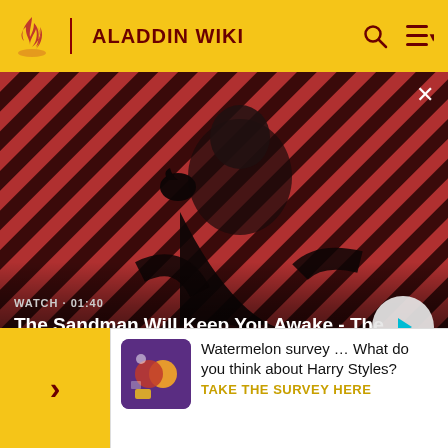ALADDIN WIKI
[Figure (screenshot): Video thumbnail for 'The Sandman Will Keep You Awake - The Loop' showing a dark figure with a raven on a red diagonal-striped background. Duration shown as 01:40. Play button visible bottom right. Close button top right.]
Cameos and other Disney references
During the "Arabian Nights" song number, a cluster of patterns... which refers to the lanterns... she
Watermelon survey … What do you think about Harry Styles?
TAKE THE SURVEY HERE